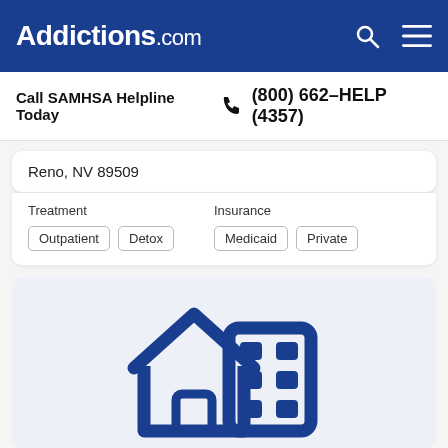Addictions.com
Call SAMHSA Helpline Today  (800) 662-HELP (4357)
Reno, NV 89509
Treatment
Outpatient  Detox
Insurance
Medicaid  Private
[Figure (illustration): Icon of a house and a building/office tower in dark blue, representing a treatment facility]